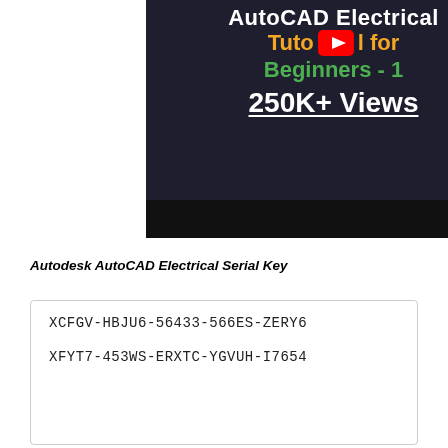[Figure (screenshot): YouTube video thumbnail for 'AutoCAD Electrical Tutorial for Beginners - 1' showing 250K+ Views with a YouTube play button in the center. Dark background with white, orange, and green text.]
Autodesk AutoCAD Electrical Serial Key
XCFGV-HBJU6-56433-566ES-ZERY6

XFYT7-453WS-ERXTC-YGVUH-I7654